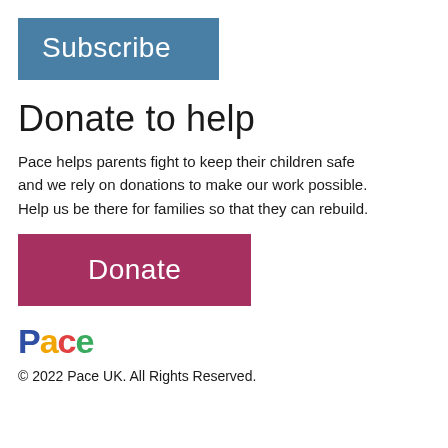Subscribe
Donate to help
Pace helps parents fight to keep their children safe and we rely on donations to make our work possible. Help us be there for families so that they can rebuild.
Donate
[Figure (logo): Pace logo with each letter in a different color: P in dark blue, a in orange/yellow, c in red, e in green]
© 2022 Pace UK. All Rights Reserved.